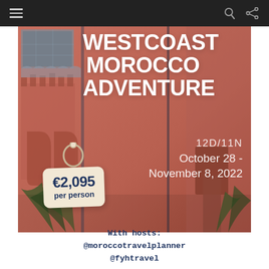Navigation bar with hamburger menu, share icon, and search icon
[Figure (photo): Travel promotional image showing a Moroccan terracotta/salmon-colored building with decorative arched patterns. Overlaid text reads 'WESTCOAST MOROCCO ADVENTURE 12D/11N October 28 - November 8, 2022' with a price tag showing €2,095 per person.]
With hosts: @moroccotravelplanner @fyhtravel